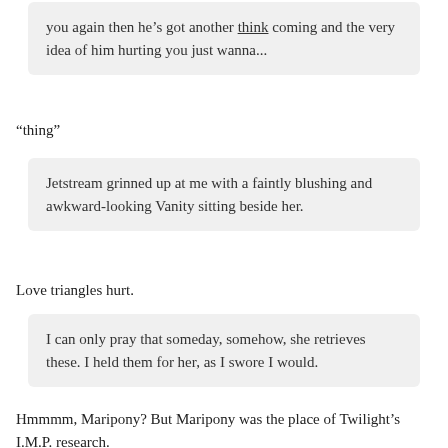you again then he’s got another think coming and the very idea of him hurting you just wanna...
“thing”
Jetstream grinned up at me with a faintly blushing and awkward-looking Vanity sitting beside her.
Love triangles hurt.
I can only pray that someday, somehow, she retrieves these. I held them for her, as I swore I would.
Hmmmm, Maripony? But Maripony was the place of Twilight’s I.M.P. research.